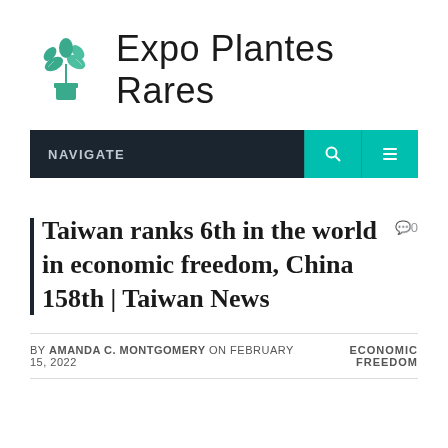[Figure (logo): Expo Plantes Rares logo with green plant in pot icon and text]
NAVIGATE
Taiwan ranks 6th in the world in economic freedom, China 158th | Taiwan News
BY AMANDA C. MONTGOMERY ON FEBRUARY 15, 2022
ECONOMIC FREEDOM